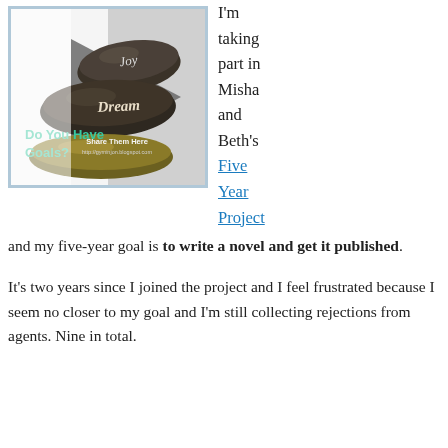[Figure (illustration): Promotional image showing dark smooth stones with words 'Joy', 'Dream', and a triangular arrow graphic. Text overlaid reads 'Do You Have Goals?' with 'Share Them Here http://gyminjon.blogspot.com']
I'm taking part in Misha and Beth's Five Year Project
and my five-year goal is to write a novel and get it published.
It's two years since I joined the project and I feel frustrated because I seem no closer to my goal and I'm still collecting rejections from agents. Nine in total.